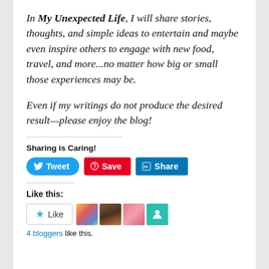In My Unexpected Life, I will share stories, thoughts, and simple ideas to entertain and maybe even inspire others to engage with new food, travel, and more...no matter how big or small those experiences may be.
Even if my writings do not produce the desired result—please enjoy the blog!
Sharing is Caring!
[Figure (screenshot): Social sharing buttons: Tweet (Twitter/blue), Save (Pinterest/red), Share (LinkedIn/teal)]
Like this:
[Figure (screenshot): Like button widget with star icon labeled Like, and 4 blogger avatar thumbnails]
4 bloggers like this.